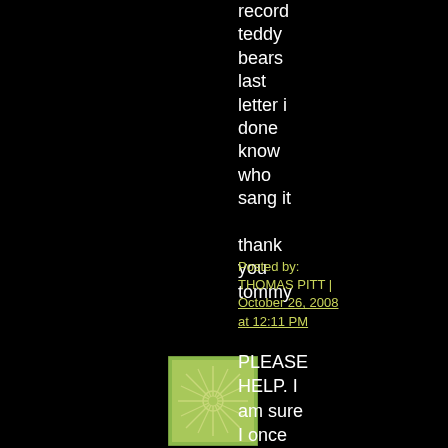record
teddy
bears
last
letter i
done
know
who
sang it

thank
you
tommy
Posted by: THOMAS PITT | October 26, 2008 at 12:11 PM
[Figure (illustration): Green decorative square icon with starburst/snowflake pattern on lighter green background]
PLEASE HELP. I am sure I once heard a